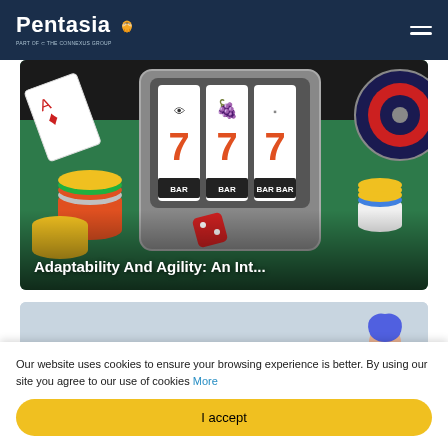Pentasia
[Figure (photo): Casino themed image with slot machine showing triple 7s, poker chips in multiple colors, playing cards, dice, and roulette wheel on a green felt background. White bold text overlay reads 'Adaptability And Agility: An Int...']
Adaptability And Agility: An Int...
[Figure (illustration): Soft blue-grey illustrated background with two cartoon characters - a person with blue hair wearing a dark top, and a smaller orange-haired character.]
Our website uses cookies to ensure your browsing experience is better. By using our site you agree to our use of cookies More
I accept